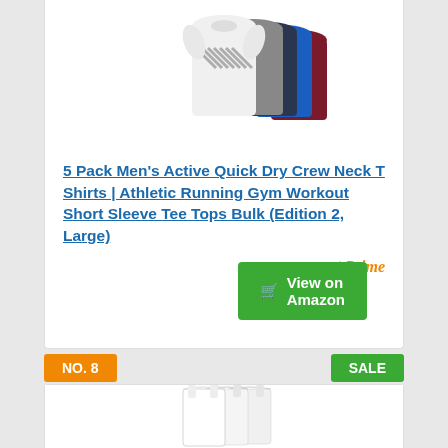[Figure (photo): Multiple athletic t-shirts fanned out showing white, gray, blue, and maroon colors]
5 Pack Men’s Active Quick Dry Crew Neck T Shirts | Athletic Running Gym Workout Short Sleeve Tee Tops Bulk (Edition 2, Large)
[Figure (logo): Amazon Prime checkmark and Prime logo in orange]
View on Amazon
NO. 8
SALE
[Figure (photo): White tank tops/undershirts stacked]